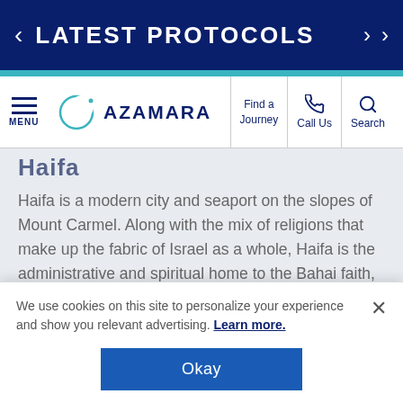LATEST PROTOCOLS
[Figure (logo): Azamara cruise line logo with crescent moon and star icon]
Find a Journey
Call Us
Search
Haifa
Haifa is a modern city and seaport on the slopes of Mount Carmel. Along with the mix of religions that make up the fabric of Israel as a whole, Haifa is the administrative and spiritual home to the Bahai faith, which preaches the unity of all mankind, and whose golden-domed world centre crowns handsome hillside
We use cookies on this site to personalize your experience and show you relevant advertising. Learn more.
Okay